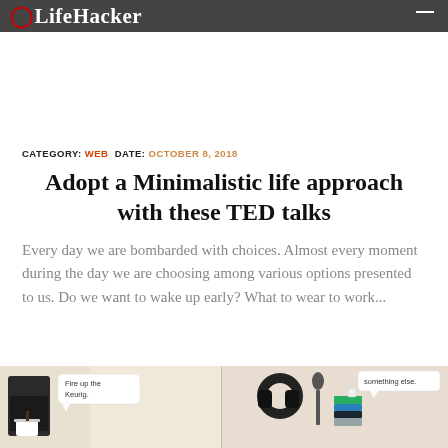LifeHacker
CATEGORY: WEB  DATE: OCTOBER 8, 2018
Adopt a Minimalistic life approach with these TED talks
Every day we are bombarded with choices. Almost every moment during the day we are choosing among various options presented to us. Do we want to wake up early? What to wear to work...
[Figure (illustration): Illustrated infographic showing minimalist lifestyle scenes with a Keurig coffee machine and speech bubble saying 'Fire up the Keurig.' and another section with books and items with a speech bubble saying 'something else.']